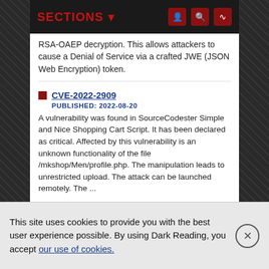SECTIONS
RSA-OAEP decryption. This allows attackers to cause a Denial of Service via a crafted JWE (JSON Web Encryption) token.
CVE-2022-2909
PUBLISHED: 2022-08-20
A vulnerability was found in SourceCodester Simple and Nice Shopping Cart Script. It has been declared as critical. Affected by this vulnerability is an unknown functionality of the file /mkshop/Men/profile.php. The manipulation leads to unrestricted upload. The attack can be launched remotely. The ...
CVE-2022-36030
PUBLISHED: 2022-08-20
Project-nexus is a general-purpose blog website framework. Affected versions are subject to SQL injection due to a lack of sensitization of user input. This issue has not yet been patched. Users are advised to restrict user input and to upgrade
This site uses cookies to provide you with the best user experience possible. By using Dark Reading, you accept our use of cookies.